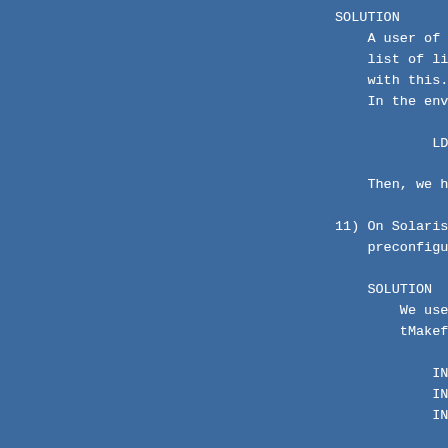SOLUTION
    A user of the VC
    list of librarie
    with this.
    In the environme

            LD_LIBRAR

    Then, we had suc

11) On Solaris (SunO
    preconfiguration

    SOLUTION
        We used /usr/ucb
        tMakefile

            INSTALLDIR = /
            INSTALL    = /
            INSTALLMAN = /

        The real problem
        as 'SunOS' to th
        difference.

12) On a HP-UX syste
    X11R4. I don't k
    However, I was s

    SOLUTION
        Use X11R5 or X11

13) On a HP-UX syste
    The